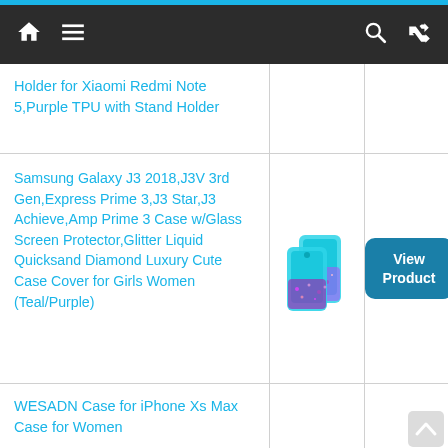Navigation bar with home, menu, search, and shuffle icons
Holder for Xiaomi Redmi Note 5,Purple TPU with Stand Holder
Samsung Galaxy J3 2018,J3V 3rd Gen,Express Prime 3,J3 Star,J3 Achieve,Amp Prime 3 Case w/Glass Screen Protector,Glitter Liquid Quicksand Diamond Luxury Cute Case Cover for Girls Women (Teal/Purple)
[Figure (photo): Phone case product image showing teal/purple glitter liquid quicksand case for Samsung Galaxy J3]
View Product
WESADN Case for iPhone Xs Max Case for Women